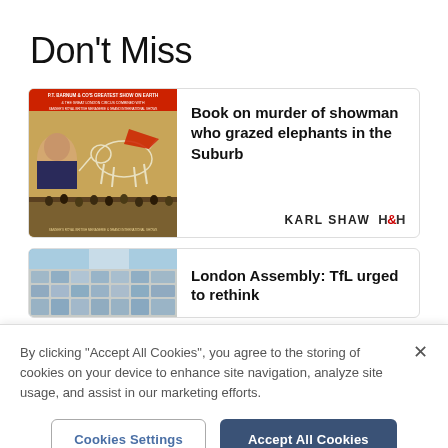Don't Miss
[Figure (photo): Vintage circus poster showing P.T. Barnum & Co's Greatest Show on Earth with elephant skeleton and crowd]
Book on murder of showman who grazed elephants in the Suburb
KARL SHAW  H&H
[Figure (photo): Photograph of glass building facade with blue sky]
London Assembly: TfL urged to rethink
By clicking "Accept All Cookies", you agree to the storing of cookies on your device to enhance site navigation, analyze site usage, and assist in our marketing efforts.
Cookies Settings
Accept All Cookies